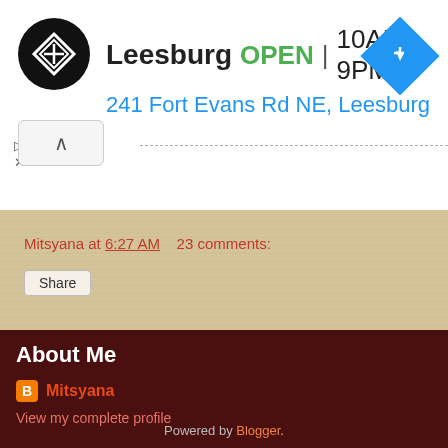[Figure (screenshot): Ad banner showing a store location: Leesburg, OPEN, 10AM-9PM, 241 Fort Evans Rd NE, Leesburg with a black circular logo and blue navigation diamond icon]
Mitsyana at 6:27 AM   23 comments:
Share
< Home >
View web version
About Me
Mitsyana
View my complete profile
Powered by Blogger.